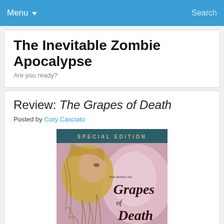Menu ▼   Search
The Inevitable Zombie Apocalypse
Are you ready?
Review: The Grapes of Death
Posted by Cory Casciato
[Figure (photo): Book/DVD cover of 'The Grapes of Death' Special Edition, showing a woman with long blonde hair on a pink/mauve background with ornate script text reading 'Jean Rollin's The Grapes of Death']